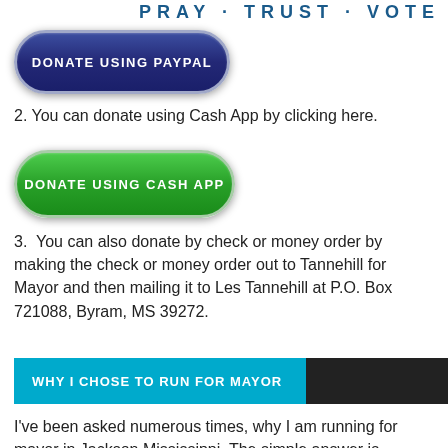[Figure (logo): PRAY TRUST VOTE logo text in bold teal/blue letters at top right]
[Figure (other): Blue pill-shaped button labeled DONATE USING PAYPAL]
2. You can donate using Cash App by clicking here.
[Figure (other): Green pill-shaped button labeled DONATE USING CASH APP]
3.  You can also donate by check or money order by making the check or money order out to Tannehill for Mayor and then mailing it to Les Tannehill at P.O. Box 721088, Byram, MS 39272.
WHY I CHOSE TO RUN FOR MAYOR
I've been asked numerous times, why I am running for mayor in Jackson Mississippi. The simple answer is